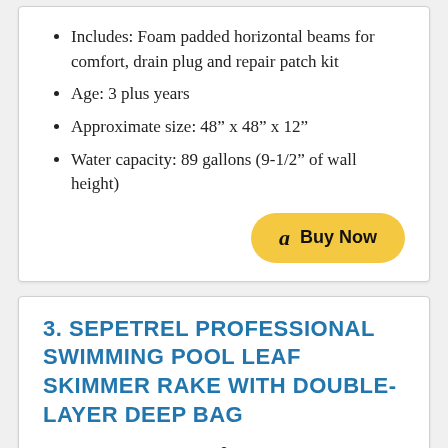Includes: Foam padded horizontal beams for comfort, drain plug and repair patch kit
Age: 3 plus years
Approximate size: 48” x 48” x 12”
Water capacity: 89 gallons (9-1/2” of wall height)
[Figure (other): Amazon Buy Now button with Amazon 'a' logo]
3. SEPETREL PROFESSIONAL SWIMMING POOL LEAF SKIMMER RAKE WITH DOUBLE-LAYER DEEP BAG
[Figure (photo): Partial product image of swimming pool leaf skimmer rake at the bottom of the card]